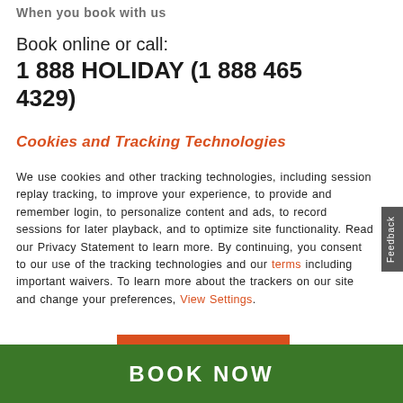When you book with us
Book online or call:
1 888 HOLIDAY (1 888 465 4329)
Cookies and Tracking Technologies
We use cookies and other tracking technologies, including session replay tracking, to improve your experience, to provide and remember login, to personalize content and ads, to record sessions for later playback, and to optimize site functionality. Read our Privacy Statement to learn more. By continuing, you consent to our use of the tracking technologies and our terms including important waivers. To learn more about the trackers on our site and change your preferences, View Settings.
ACCEPT
BOOK NOW